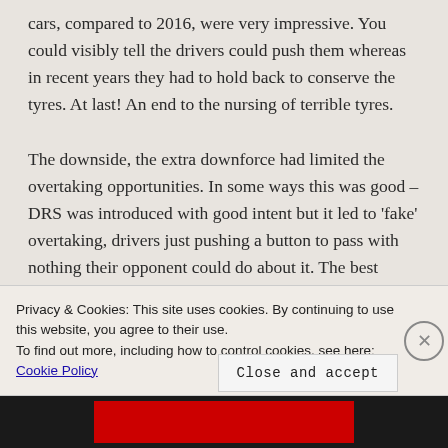cars, compared to 2016, were very impressive. You could visibly tell the drivers could push them whereas in recent years they had to hold back to conserve the tyres. At last! An end to the nursing of terrible tyres.

The downside, the extra downforce had limited the overtaking opportunities. In some ways this was good – DRS was introduced with good intent but it led to 'fake' overtaking, drivers just pushing a button to pass with nothing their opponent could do about it. The best overtaking aids allow both drivers to have a fair
Privacy & Cookies: This site uses cookies. By continuing to use this website, you agree to their use.
To find out more, including how to control cookies, see here: Cookie Policy
Close and accept